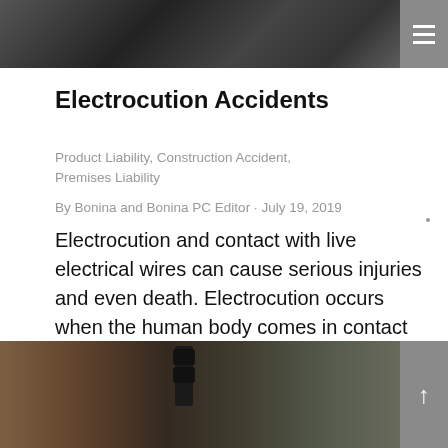[Figure (photo): Top portion of a photo showing dark objects (likely electrical equipment or tools) against a background, partially cropped]
Electrocution Accidents
Product Liability, Construction Accident, Premises Liability
By Bonina and Bonina PC Editor · July 19, 2019
Electrocution and contact with live electrical wires can cause serious injuries and even death. Electrocution occurs when the human body comes in contact with a powerful electric shock. Electrocution accidents are often the result of …
[Figure (photo): Bottom photo showing a street scene with traffic lights, a brick building, and bare trees in winter]